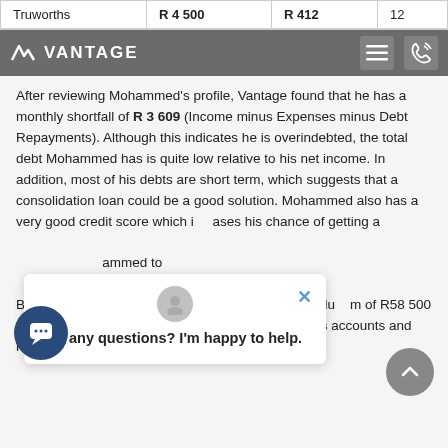| Truworths | R 4 500 | R 412 | 12 |
[Figure (screenshot): Vantage website header bar with logo, hamburger menu icon, and phone icon on grey background]
After reviewing Mohammed's profile, Vantage found that he has a monthly shortfall of R 3 609 (Income minus Expenses minus Debt Repayments). Although this indicates he is overindebted, the total debt Mohammed has is quite low relative to his net income. In addition, most of his debts are short term, which suggests that a consolidation loan could be a good solution. Mohammed also has a very good credit score which increases his chance of getting a … recommended to Mohammed to … consolidation loan. Bank X approved the consolidation loan and paid a lump sum of R58 500 to his account. Mohammed … amount to settle all his accounts and now he only has one loan remaining.
[Figure (screenshot): Chat widget overlay with avatar, close button, and text 'Got any questions? I'm happy to help.']